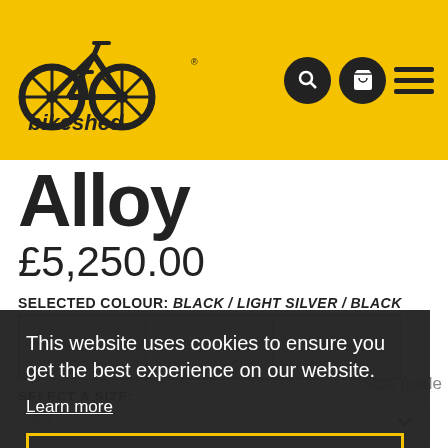[Figure (logo): Bikeshed logo: yellow bicycle wheel icon with 'bikeshed' text in black on yellow background header]
Alloy
£5,250.00
SELECTED COLOUR: BLACK / LIGHT SILVER / BLACK
[Figure (other): Three colour swatch boxes showing bike colour options]
This website uses cookies to ensure you get the best experience on our website.
Learn more
Got it!
Size guide
SELECT A SIZE:
S3